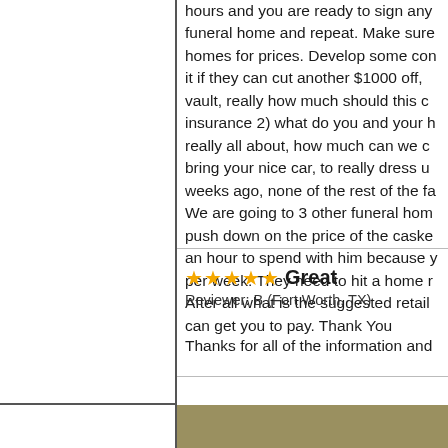hours and you are ready to sign any funeral home and repeat. Make sure homes for prices. Develop some con it if they can cut another $1000 off, vault, really how much should this c insurance 2) what do you and your h really all about, how much can we c bring your nice car, to really dress u weeks ago, none of the rest of the fa We are going to 3 other funeral hom push down on the price of the caske an hour to spend with him because y per week. They need to hit a home r After all what is the suggested retail can get you to pay. Thank You
Great
Reviewer: B (Fort Worth, TX)
Thanks for all of the information and